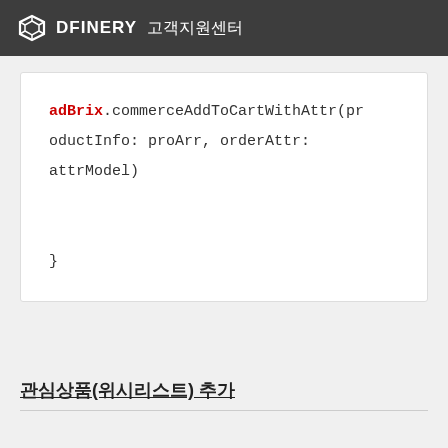DFINERY 고객지원센터
adBrix.commerceAddToCartWithAttr(productInfo: proArr, orderAttr: attrModel)
}
관심상품(위시리스트) 추가